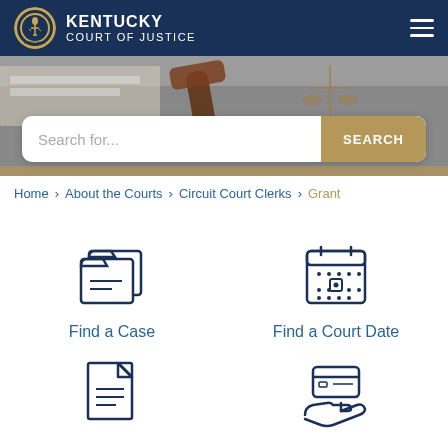KENTUCKY COURT OF JUSTICE
[Figure (screenshot): Hero image with gavel and scales of justice, search bar overlay with 'Search for...' placeholder and gold SEARCH button]
Home > About the Courts > Circuit Court Clerks > Grant
[Figure (illustration): Find a Case icon - folder with papers]
Find a Case
[Figure (illustration): Find a Court Date icon - calendar]
Find a Court Date
[Figure (illustration): Forms icon - document with lines]
[Figure (illustration): Pay icon - credit card on hand]